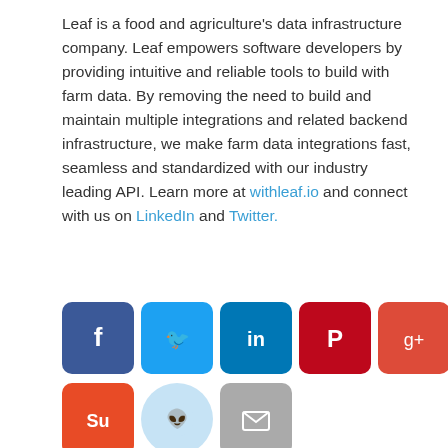Leaf is a food and agriculture’s data infrastructure company. Leaf empowers software developers by providing intuitive and reliable tools to build with farm data. By removing the need to build and maintain multiple integrations and related backend infrastructure, we make farm data integrations fast, seamless and standardized with our industry leading API. Learn more at withleaf.io and connect with us on LinkedIn and Twitter.
[Figure (infographic): Row of social media share buttons: Facebook, Twitter, LinkedIn, Pinterest, Google+, Tumblr, Digg, ShareThis, StumbleUpon, Reddit, Email]
Earth observation, Jim Thomason, Leaf, Planet Labs, PlanetScope
NOAA Releases RFP for Commercial Space Weather
Elon Musk Accused of Exposing Himself to and